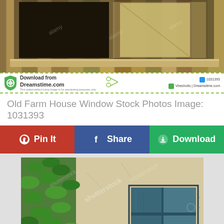[Figure (photo): Old weathered wooden farm house window with open shutters and worn wood planks, Dreamstime watermark overlay]
[Figure (logo): Dreamstime.com download banner with green shield logo, scissors graphic, ID number 1031393, and Vbeshotis | Dreamstime.com credit]
Old Farm House Window Stock Photos Image: 1031393
Pin It
Share
Download
[Figure (photo): Old stone wall with worn blue wooden shuttered window covered with green ivy, Shutterstock watermark overlay]